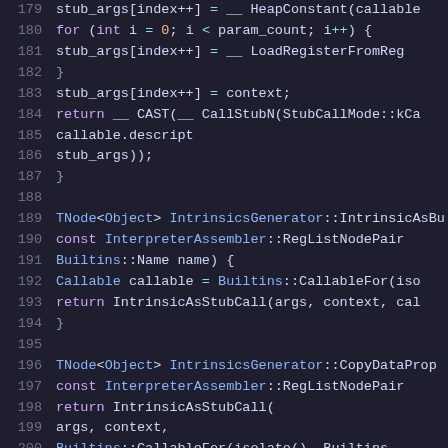[Figure (screenshot): Source code viewer showing C++ code lines 179-200 with syntax highlighting on dark background. Purple keywords, blue type names, teal/cyan operators, and gray line numbers are visible.]